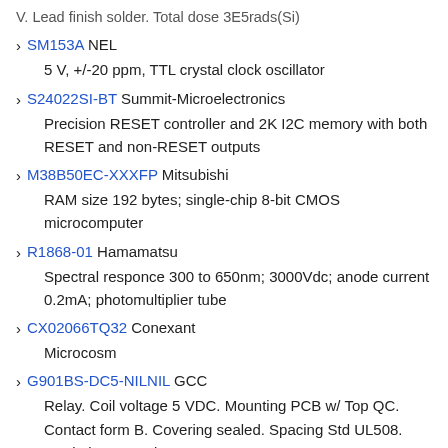V. Lead finish solder. Total dose 3E5rads(Si)
SM153A NEL
5 V, +/-20 ppm, TTL crystal clock oscillator
S24022SI-BT Summit-Microelectronics
Precision RESET controller and 2K I2C memory with both RESET and non-RESET outputs
M38B50EC-XXXFP Mitsubishi
RAM size 192 bytes; single-chip 8-bit CMOS microcomputer
R1868-01 Hamamatsu
Spectral responce 300 to 650nm; 3000Vdc; anode current 0.2mA; photomultiplier tube
CX02066TQ32 Conexant
Microcosm
G901BS-DC5-NILNIL GCC
Relay. Coil voltage 5 VDC. Mounting PCB w/ Top QC. Contact form B. Covering sealed. Spacing Std UL508. Insulation STD.classB.
PNERE69RA-TL Risch